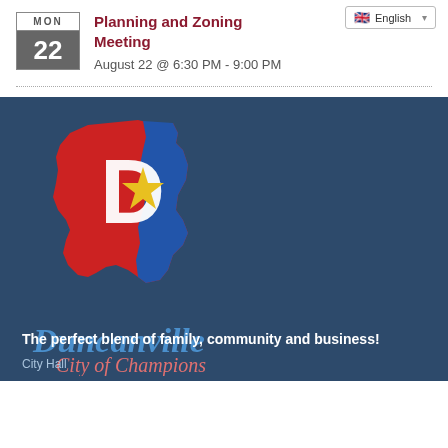English
Planning and Zoning Meeting
August 22 @ 6:30 PM - 9:00 PM
[Figure (logo): Duncanville City of Champions logo with Texas state shape in red and blue, white D letter, gold star, and text 'Duncanville City of Champions']
The perfect blend of family, community and business!
City Hall